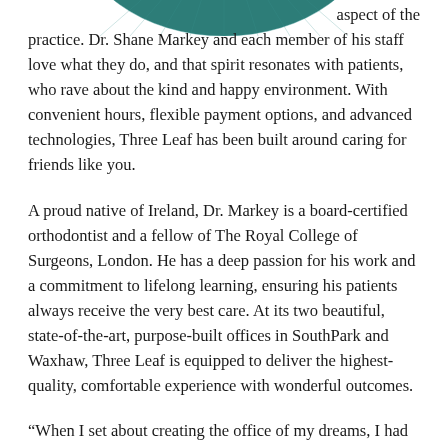[Figure (illustration): Partial view of a teal/green circular logo or emblem at the top of the page, cropped at the top edge.]
aspect of the practice. Dr. Shane Markey and each member of his staff love what they do, and that spirit resonates with patients, who rave about the kind and happy environment. With convenient hours, flexible payment options, and advanced technologies, Three Leaf has been built around caring for friends like you.
A proud native of Ireland, Dr. Markey is a board-certified orthodontist and a fellow of The Royal College of Surgeons, London. He has a deep passion for his work and a commitment to lifelong learning, ensuring his patients always receive the very best care. At its two beautiful, state-of-the-art, purpose-built offices in SouthPark and Waxhaw, Three Leaf is equipped to deliver the highest-quality, comfortable experience with wonderful outcomes.
“When I set about creating the office of my dreams, I had